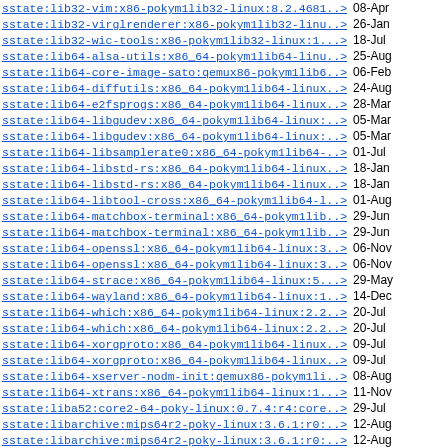| Name | Date |
| --- | --- |
| sstate:lib32-vim:x86-pokym1lib32-linux:8.2.4681..> | 08-Apr |
| sstate:lib32-virglrenderer:x86-pokym1lib32-linu..> | 26-Jan |
| sstate:lib32-wic-tools:x86-pokym1lib32-linux:1...> | 18-Jul |
| sstate:lib64-alsa-utils:x86_64-pokym1lib64-linu..> | 25-Aug |
| sstate:lib64-core-image-sato:qemux86-pokym1lib6..> | 06-Feb |
| sstate:lib64-diffutils:x86_64-pokym1lib64-linux..> | 24-Aug |
| sstate:lib64-e2fsprogs:x86_64-pokym1lib64-linux..> | 28-Mar |
| sstate:lib64-libgudev:x86_64-pokym1lib64-linux:..> | 05-Mar |
| sstate:lib64-libgudev:x86_64-pokym1lib64-linux:..> | 05-Mar |
| sstate:lib64-libsamplerate0:x86_64-pokym1lib64-..> | 01-Jul |
| sstate:lib64-libstd-rs:x86_64-pokym1lib64-linux..> | 18-Jan |
| sstate:lib64-libstd-rs:x86_64-pokym1lib64-linux..> | 18-Jan |
| sstate:lib64-libtool-cross:x86_64-pokym1lib64-l..> | 01-Aug |
| sstate:lib64-matchbox-terminal:x86_64-pokym1lib..> | 29-Jun |
| sstate:lib64-matchbox-terminal:x86_64-pokym1lib..> | 29-Jun |
| sstate:lib64-openssl:x86_64-pokym1lib64-linux:3..> | 06-Nov |
| sstate:lib64-openssl:x86_64-pokym1lib64-linux:3..> | 06-Nov |
| sstate:lib64-strace:x86_64-pokym1lib64-linux:5...> | 29-May |
| sstate:lib64-wayland:x86_64-pokym1lib64-linux:1..> | 14-Dec |
| sstate:lib64-which:x86_64-pokym1lib64-linux:2.2..> | 20-Jul |
| sstate:lib64-which:x86_64-pokym1lib64-linux:2.2..> | 20-Jul |
| sstate:lib64-xorgproto:x86_64-pokym1lib64-linux..> | 09-Jul |
| sstate:lib64-xorgproto:x86_64-pokym1lib64-linux..> | 09-Jul |
| sstate:lib64-xserver-nodm-init:qemux86-pokym1li..> | 08-Aug |
| sstate:lib64-xtrans:x86_64-pokym1lib64-linux:1...> | 11-Nov |
| sstate:liba52:core2-64-poky-linux:0.7.4:r4:core..> | 29-Jul |
| sstate:libarchive:mips64r2-poky-linux:3.6.1:r0:..> | 12-Aug |
| sstate:libarchive:mips64r2-poky-linux:3.6.1:r0:..> | 12-Aug |
| sstate:libassuan:cortexa57-poky-linux:2.5.5:r0:..> | 12-Feb |
| sstate:libcan:core2-64-poky-linux:2.64:r0:core2..> | 26-Apr |